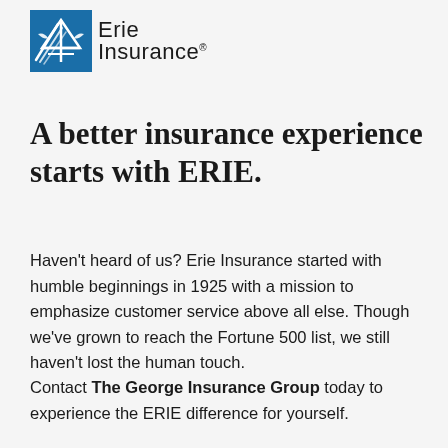[Figure (logo): Erie Insurance logo with blue geometric house/eagle icon and 'Erie Insurance' wordmark]
A better insurance experience starts with ERIE.
Haven't heard of us? Erie Insurance started with humble beginnings in 1925 with a mission to emphasize customer service above all else. Though we've grown to reach the Fortune 500 list, we still haven't lost the human touch.
Contact The George Insurance Group today to experience the ERIE difference for yourself.